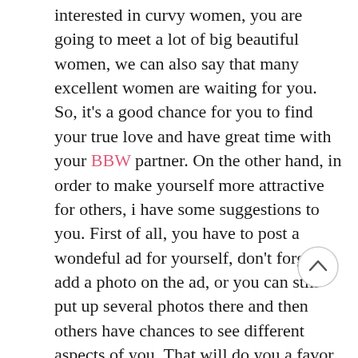interested in curvy women, you are going to meet a lot of big beautiful women, we can also say that many excellent women are waiting for you. So, it's a good chance for you to find your true love and have great time with your BBW partner. On the other hand, in order to make yourself more attractive for others, i have some suggestions to you. First of all, you have to post a wondeful ad for yourself, don't forget add a photo on the ad, or you can still put up several photos there and then others have chances to see different aspects of you. That will do you a favor to seek for your true BBW partner and have fun with her as well. Secondly, if you need to describe yourself to others, we suggest that you can talk something about your characters and interests, because those information will help people know more about you. Of course, you should write down the real information of yourself and then let others know that is you. I believe it will be more effective